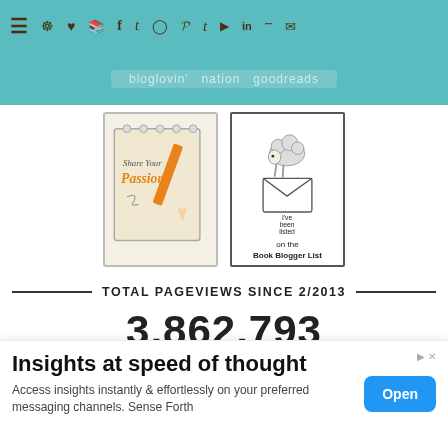Navigation bar with hamburger menu and social media icons
[Figure (illustration): Share Your Passion blog badge illustration - notepad with orange pencil and handwritten text]
[Figure (illustration): I've been listed on the Book Blogger List badge with sheep illustration]
TOTAL PAGEVIEWS SINCE 2/2013
3,862,793
Unique Visits since 7/12/13: 00499925
3699 followers
Insights at speed of thought
Access insights instantly & effortlessly on your preferred messaging channels. Sense Forth